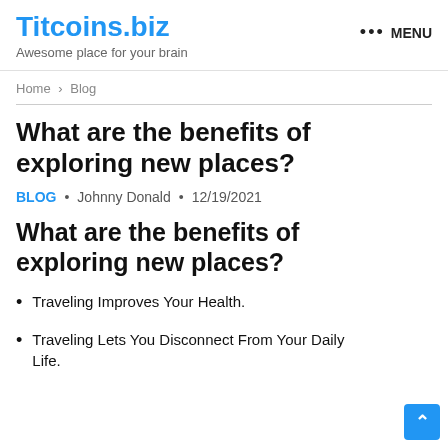Titcoins.biz
Awesome place for your brain
••• MENU
Home > Blog
What are the benefits of exploring new places?
BLOG • Johnny Donald • 12/19/2021
What are the benefits of exploring new places?
Traveling Improves Your Health.
Traveling Lets You Disconnect From Your Daily Life.